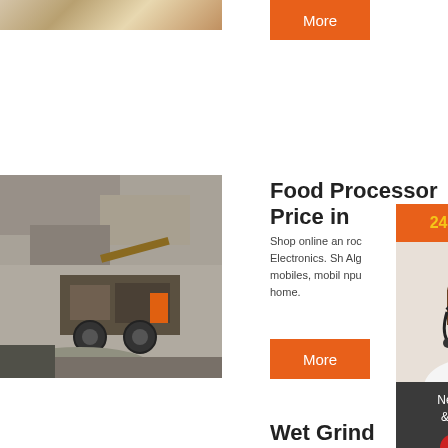[Figure (photo): Partial view of a stone or rock texture image at top left]
[Figure (other): Orange 'More' button]
[Figure (photo): Construction/mining machinery in a rock quarry, black and white/color photograph]
Food Processor Price in
Shop online and find rock processor products from Electronics. Shop online at Algeries for mobiles, mobile accessories, computers home.
[Figure (other): Orange 'More' button]
Wet Grind
[Figure (infographic): 24Hrs Online sidebar widget with customer service agent photo, 'Need questions & suggestion?', Chat Now button, Enquiry link, and limingjlmofen link]